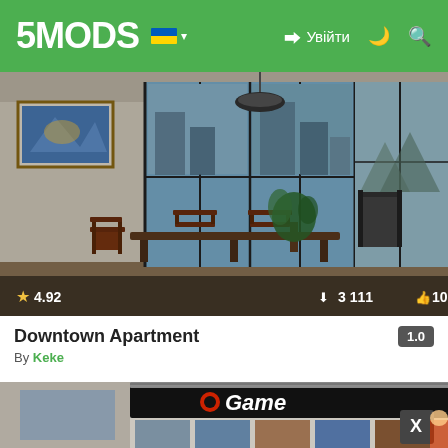5MODS navigation bar with logo, Ukrainian flag, login button, and search icon
[Figure (screenshot): GTA V Downtown Apartment interior screenshot showing dining area with chairs, large windows with city view, artwork on walls. Stats overlay: star rating 4.92, downloads 3 111, likes 101]
Downtown Apartment
By Keke
[Figure (screenshot): Game store mod screenshot showing storefront with 'Game' and 'Stop' signage, game posters in windows, American flag visible on right side, X button overlay]